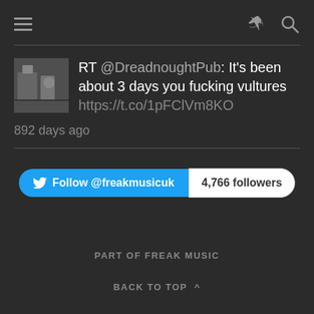navigation header with hamburger menu and share/search icons
RT @DreadnoughtPub: It's been about 3 days you fucking vultures https://t.co/1pFClVm8KO
892 days ago
Follow @freakmusicuk   4,766 followers
PART OF FREAK MUSIC
BACK TO TOP ^